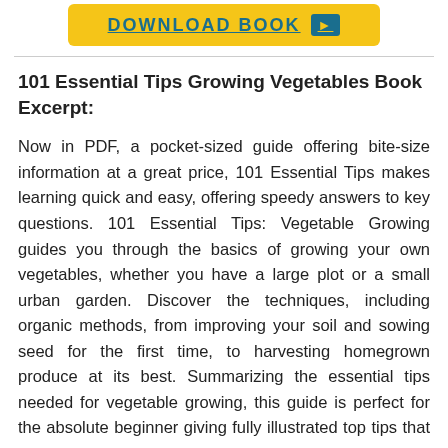[Figure (other): Yellow download button with teal text reading DOWNLOAD BOOK and a teal arrow icon]
101 Essential Tips Growing Vegetables Book Excerpt:
Now in PDF, a pocket-sized guide offering bite-size information at a great price, 101 Essential Tips makes learning quick and easy, offering speedy answers to key questions. 101 Essential Tips: Vegetable Growing guides you through the basics of growing your own vegetables, whether you have a large plot or a small urban garden. Discover the techniques, including organic methods, from improving your soil and sowing seed for the first time, to harvesting homegrown produce at its best. Summarizing the essential tips needed for vegetable growing, this guide is perfect for the absolute beginner giving fully illustrated top tips that can